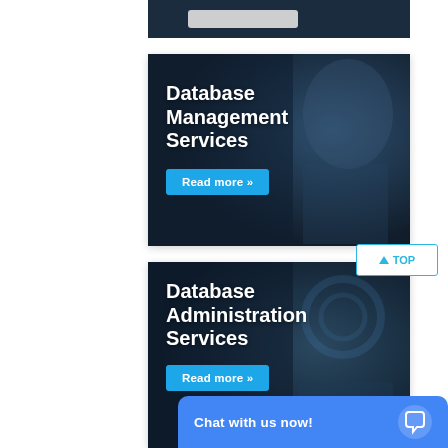[Figure (screenshot): Partially visible dark card at top of page]
[Figure (screenshot): Database Management Services card with dark blue background and 'Read more' button]
[Figure (screenshot): Database Administration Services card with dark blue background and 'Read more' button]
TOP
Chat with us now!